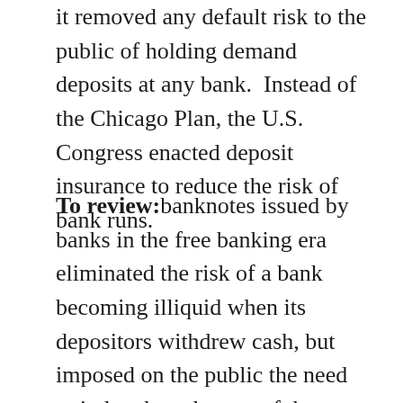it removed any default risk to the public of holding demand deposits at any bank.  Instead of the Chicago Plan, the U.S. Congress enacted deposit insurance to reduce the risk of bank runs.
To review: banknotes issued by banks in the free banking era eliminated the risk of a bank becoming illiquid when its depositors withdrew cash, but imposed on the public the need to judge the solvency of the note-issuing bank before accepting its currency.  The risk of losses on demand deposits remained.  While that risk could have been eliminated with a 100% reserve requirement (The Chicago Plan), it was eliminated for smaller deposits by deposit insurance.